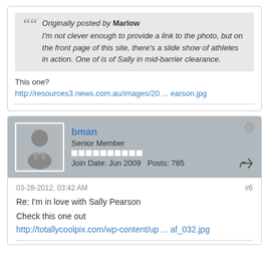Originally posted by Marlow
I'm not clever enough to provide a link to the photo, but on the front page of this site, there's a slide show of athletes in action. One of is of Sally in mid-barrier clearance.
This one?
http://resources3.news.com.au/images/20 ... earson.jpg
bman
Senior Member
Join Date: Jun 2009   Posts: 785
03-28-2012, 03:42 AM
#6
Re: I'm in love with Sally Pearson
Check this one out
http://totallycoolpix.com/wp-content/up ... af_032.jpg